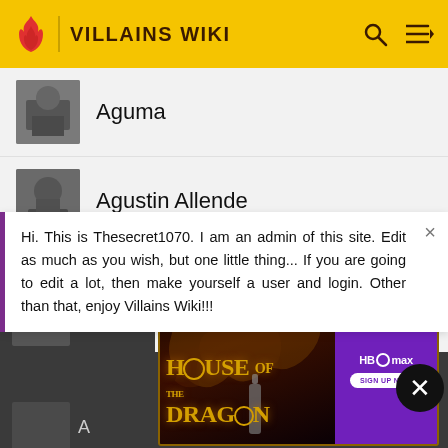VILLAINS WIKI
Aguma
Agustin Allende
Hi. This is Thesecret1070. I am an admin of this site. Edit as much as you wish, but one little thing... If you are going to edit a lot, then make yourself a user and login. Other than that, enjoy Villains Wiki!!!
[Figure (screenshot): House of the Dragon HBO Max advertisement banner with golden dragon imagery and purple HBO Max branding with 'SIGN UP NOW' button]